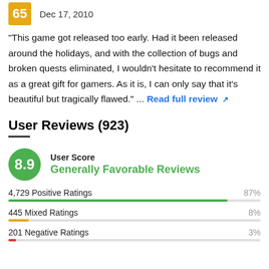65  Dec 17, 2010
"This game got released too early. Had it been released around the holidays, and with the collection of bugs and broken quests eliminated, I wouldn't hesitate to recommend it as a great gift for gamers. As it is, I can only say that it's beautiful but tragically flawed." ... Read full review
User Reviews (923)
8.9  User Score  Generally Favorable Reviews
4,729 Positive Ratings  87%
445 Mixed Ratings  8%
201 Negative Ratings  3%